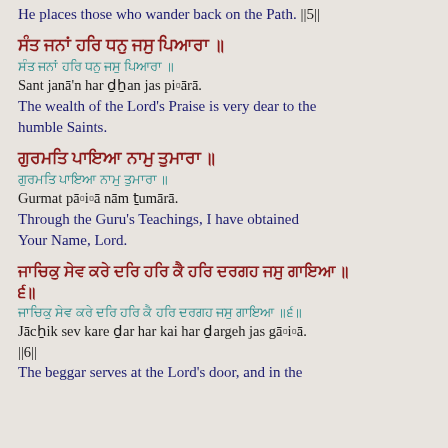He places those who wander back on the Path. ||5||
ਸੰਤ ਜਨਾਂ ਹਰਿ ਧਨੁ ਜਸੁ ਪਿਆਰਾ ॥
(Gurmukhi teal line 1)
Sant janā'n har ḏẖan jas pi▫ārā.
The wealth of the Lord's Praise is very dear to the humble Saints.
ਗੁਰਮਤਿ ਪਾਇਆ ਨਾਮੁ ਤੁਮਾਰਾ ॥
(Gurmukhi teal line 2)
Gurmat pā▫i▫ā nām ṯumārā.
Through the Guru's Teachings, I have obtained Your Name, Lord.
ਜਾਚਿਕੁ ਸੇਵ ਕਰੇ ਦਰਿ ਹਰਿ ਕੈ ਹਰਿ ਦਰਗਹ ਜਸੁ ਗਾਇਆ ॥ ੬॥
(Gurmukhi teal line 3)
Jācẖik sev kare ḏar har kai har ḏargeh jas gā▫i▫ā. ||6||
The beggar serves at the Lord's door, and in the